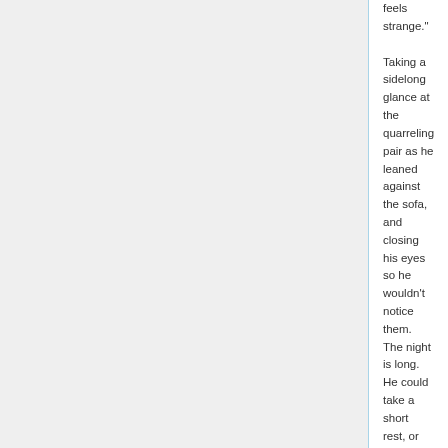feels strange."
Taking a sidelong glance at the quarreling pair as he leaned against the sofa, and closing his eyes so he wouldn't notice them. The night is long. He could take a short rest, or so he thought.
The change occured later that night. At that time, Layfon was on top of the warehouse's roof. He sat on the roof with his legs stretched out and his eyes shut. While using Sakkei to hide his presence, Layfon extended the sensation in his hands in all directions, reading disturbances in the atmosphere. In the sky, the newly waxing crescent of the moon seemed to be drawn, shining, on the thick clouds before it.
Upon sensing a disturbance, Layfon opened his eyes. Even now, Layfon